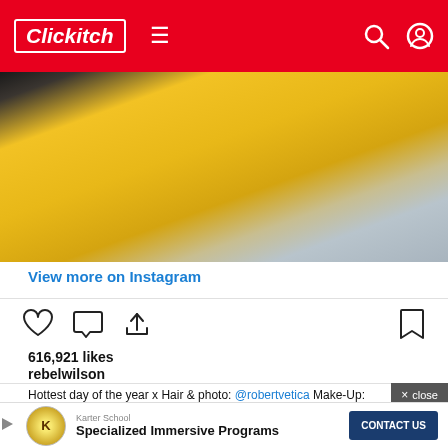Clickitch
[Figure (photo): Cropped photo showing a person wearing a bright yellow outfit/dress, with a chess piece visible on the left side and blue/grey clothing visible on the right edge.]
View more on Instagram
616,921 likes
rebelwilson
Hottest day of the year x Hair & photo: @robertvetica Make-Up: @makeupmatthew Dress: @waynecooperclothing
view all 6,047 comments
[Figure (infographic): Advertisement banner for Karter School — Specialized Immersive Programs, with a circular logo on the left and a 'CONTACT US' button on the right.]